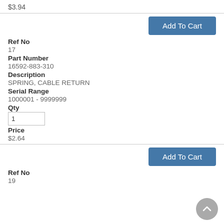$3.94
Add To Cart
Ref No
17
Part Number
16592-883-310
Description
SPRING, CABLE RETURN
Serial Range
1000001 - 9999999
Qty
1
Price
$2.64
Add To Cart
Ref No
19